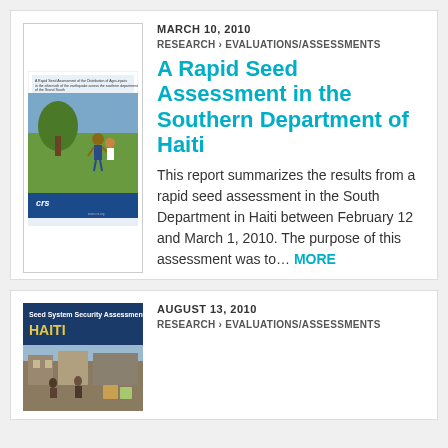[Figure (illustration): Cover image of the Rapid Seed Assessment report showing a person in a field, with CRS logo and blue bottom band]
MARCH 10, 2010
RESEARCH › EVALUATIONS/ASSESSMENTS
A Rapid Seed Assessment in the Southern Department of Haiti
This report summarizes the results from a rapid seed assessment in the South Department in Haiti between February 12 and March 1, 2010. The purpose of this assessment was to… MORE
[Figure (illustration): Cover image of the Seed System Security Assessment Haiti report with blue background and photo]
AUGUST 13, 2010
RESEARCH › EVALUATIONS/ASSESSMENTS